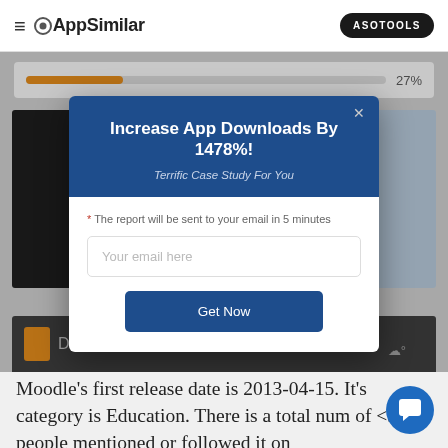AppSimilar — ASOTOOLS
[Figure (screenshot): Screenshot of AppSimilar website showing a progress bar at 27% and app store listing content in the background, with a modal popup overlaid on top]
Increase App Downloads By 1478%!
Terrific Case Study For You
* The report will be sent to your email in 5 minutes
Your email here
Get Now
Moodle's first release date is 2013-04-15. It's category is Education. There is a total num of <5K people mentioned or followed it on